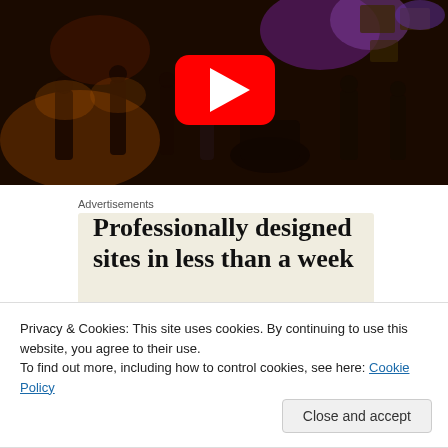[Figure (screenshot): YouTube video thumbnail showing a dark concert scene with musicians on stage and a large YouTube play button (red rectangle with white triangle) in the center]
Advertisements
[Figure (screenshot): Advertisement with beige/cream background showing text: Professionally designed sites in less than a week]
Privacy & Cookies: This site uses cookies. By continuing to use this website, you agree to their use.
To find out more, including how to control cookies, see here: Cookie Policy
Close and accept